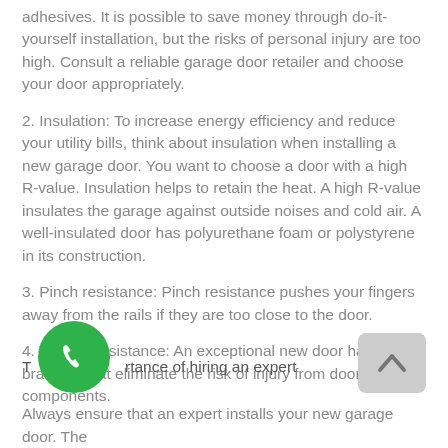adhesives. It is possible to save money through do-it-yourself installation, but the risks of personal injury are too high. Consult a reliable garage door retailer and choose your door appropriately.
2. Insulation: To increase energy efficiency and reduce your utility bills, think about insulation when installing a new garage door. You want to choose a door with a high R-value. Insulation helps to retain the heat. A high R-value insulates the garage against outside noises and cold air. A well-insulated door has polyurethane foam or polystyrene in its construction.
3. Pinch resistance: Pinch resistance pushes your fingers away from the rails if they are too close to the door.
4. Tamper resistance: An exceptional new door has bottom brackets that eliminate the risk of injury from door components.
The importance of hiring an expert
Always ensure that an expert installs your new garage door. The